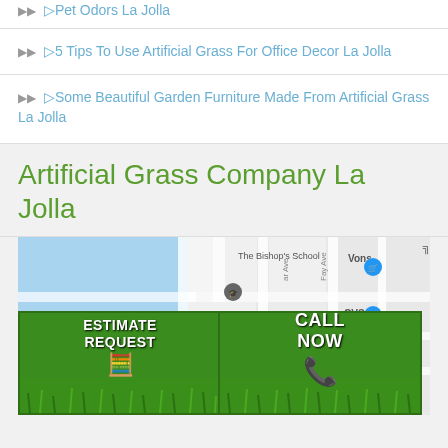▶▶ ▷5 Tips To Use Artificial Grass For Office Decor La Jolla
▶▶ ▷Some Beautiful Garden Furniture Made From Artificial Grass La Jolla
Artificial Grass Company La Jolla
[Figure (map): Google Maps screenshot showing La Jolla area with The Bishop's School, La Jolla Tide Pools, Vons, CVS markers. Overlaid with two promotional buttons: 'ESTIMATE REQUEST' with calculator image and 'CALL NOW' with red phone image, both on green grass background.]